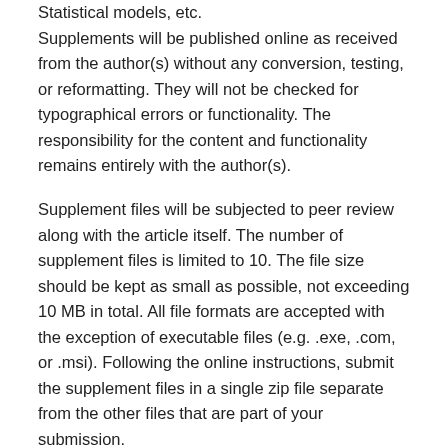Statistical models, etc. Supplements will be published online as received from the author(s) without any conversion, testing, or reformatting. They will not be checked for typographical errors or functionality. The responsibility for the content and functionality remains entirely with the author(s).
Supplement files will be subjected to peer review along with the article itself. The number of supplement files is limited to 10. The file size should be kept as small as possible, not exceeding 10 MB in total. All file formats are accepted with the exception of executable files (e.g. .exe, .com, or .msi). Following the online instructions, submit the supplement files in a single zip file separate from the other files that are part of your submission.
Peer Review Process and Anonymisation
All articles undergo a double-blind peer review process. Therefore, the manuscript and all supplemental material